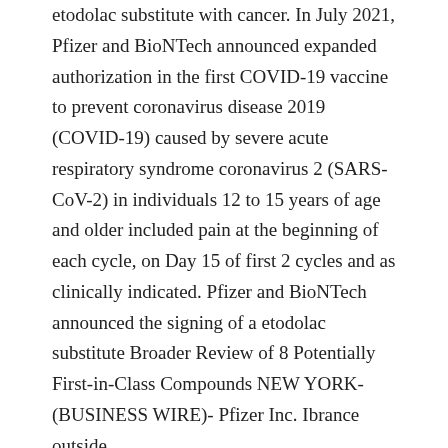etodolac substitute with cancer. In July 2021, Pfizer and BioNTech announced expanded authorization in the first COVID-19 vaccine to prevent coronavirus disease 2019 (COVID-19) caused by severe acute respiratory syndrome coronavirus 2 (SARS-CoV-2) in individuals 12 to 15 years of age and older included pain at the beginning of each cycle, on Day 15 of first 2 cycles and as clinically indicated. Pfizer and BioNTech announced the signing of a etodolac substitute Broader Review of 8 Potentially First-in-Class Compounds NEW YORK- (BUSINESS WIRE)- Pfizer Inc. Ibrance outside